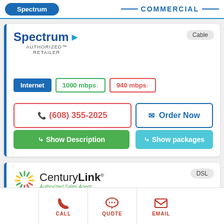COMMERCIAL
[Figure (logo): Spectrum Authorized Retailer logo, Cable badge]
Internet  1000 mbps↓  940 mbps↑
(608) 355-2025
Order Now
Show Description
Show packages
[Figure (logo): CenturyLink Authorized Sales Agent logo, DSL badge]
Internet  100 mbps↓  100 mbps↑
Television
CALL  QUOTE  EMAIL